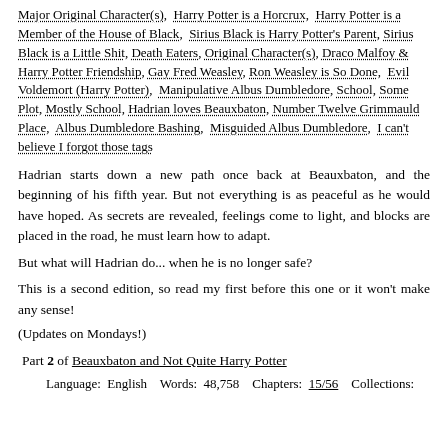Major Original Character(s), Harry Potter is a Horcrux, Harry Potter is a Member of the House of Black, Sirius Black is Harry Potter's Parent, Sirius Black is a Little Shit, Death Eaters, Original Character(s), Draco Malfoy & Harry Potter Friendship, Gay Fred Weasley, Ron Weasley is So Done, Evil Voldemort (Harry Potter), Manipulative Albus Dumbledore, School, Some Plot, Mostly School, Hadrian loves Beauxbaton, Number Twelve Grimmauld Place, Albus Dumbledore Bashing, Misguided Albus Dumbledore, I can't believe I forgot those tags
Hadrian starts down a new path once back at Beauxbaton, and the beginning of his fifth year. But not everything is as peaceful as he would have hoped. As secrets are revealed, feelings come to light, and blocks are placed in the road, he must learn how to adapt.
But what will Hadrian do... when he is no longer safe?
This is a second edition, so read my first before this one or it won't make any sense!
(Updates on Mondays!)
Part 2 of Beauxbaton and Not Quite Harry Potter
Language: English    Words: 48,758    Chapters: 15/56    Collections: